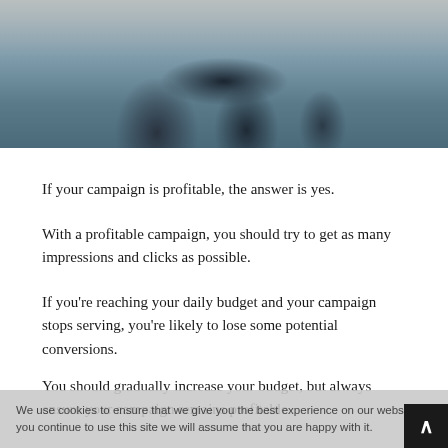[Figure (photo): Office scene with people sitting at desks working on computers, viewed from behind, in a modern workspace]
If your campaign is profitable, the answer is yes.
With a profitable campaign, you should try to get as many impressions and clicks as possible.
If you’re reaching your daily budget and your campaign stops serving, you’re likely to lose some potential conversions.
You should gradually increase your budget, but always ensure your campaign remains profitable.
We use cookies to ensure that we give you the best experience on our website. If you continue to use this site we will assume that you are happy with it.